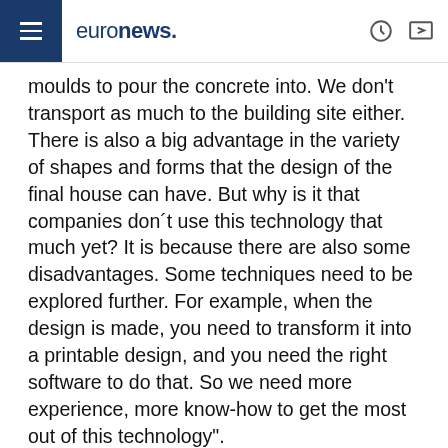euronews.
moulds to pour the concrete into. We don't transport as much to the building site either. There is also a big advantage in the variety of shapes and forms that the design of the final house can have. But why is it that companies don´t use this technology that much yet? It is because there are also some disadvantages. Some techniques need to be explored further. For example, when the design is made, you need to transform it into a printable design, and you need the right software to do that. So we need more experience, more know-how to get the most out of this technology".
SHARE THIS ARTICLE